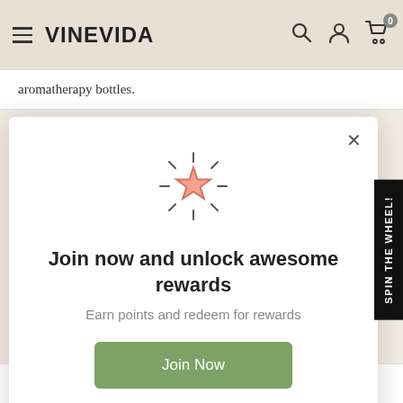VINEVIDA
aromatherapy bottles.
[Figure (illustration): Star icon with radiating lines, indicating a rewards/loyalty program]
Join now and unlock awesome rewards
Earn points and redeem for rewards
Join Now
Already a member? Sign in
control, so you know exactly how many drops were